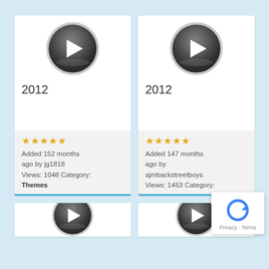[Figure (screenshot): Video thumbnail card 1: play button icon, title '2012', 5-star rating, Added 152 months ago by jg1818, Views: 1048 Category: Themes]
[Figure (screenshot): Video thumbnail card 2: play button icon, title '2012', 5-star rating, Added 147 months ago by ajmbackstreetboys, Views: 1453 Category:]
[Figure (screenshot): Partial video thumbnail card 3 at bottom left]
[Figure (screenshot): Partial video thumbnail card 4 at bottom right]
[Figure (logo): reCAPTCHA badge with Privacy - Terms text]